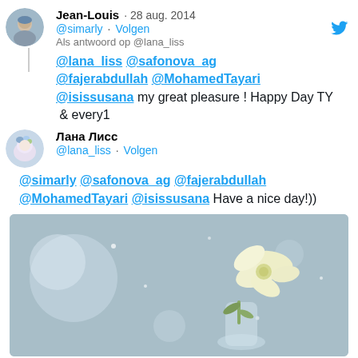Jean-Louis · 28 aug. 2014 @simarly · Volgen
Als antwoord op @lana_liss
@lana_liss @safonova_ag @fajerabdullah @MohamedTayari @isissusana my great pleasure ! Happy Day TY  & every1
Лана Лисс @lana_liss · Volgen
@simarly @safonova_ag @fajerabdullah @MohamedTayari @isissusana Have a nice day!))
[Figure (photo): A soft-focus photo of white/cream flowers in a glass vase with bokeh light effects on a grey-blue background]